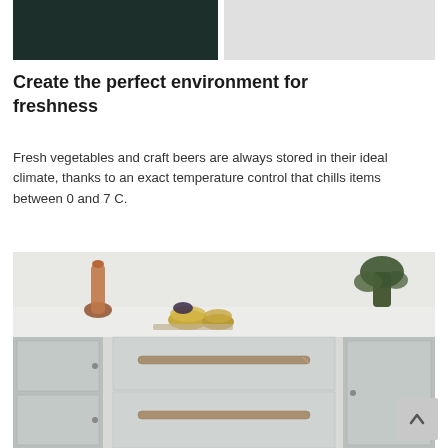[Figure (photo): Two color swatches side by side: dark green/teal on the left and light gray on the right]
Create the perfect environment for freshness
Fresh vegetables and craft beers are always stored in their ideal climate, thanks to an exact temperature control that chills items between 0 and 7 C.
[Figure (photo): Kitchen scene showing stainless steel drawer refrigerator units built into white cabinetry, with copper and gold decorative items on the countertop and greenery in the background.]